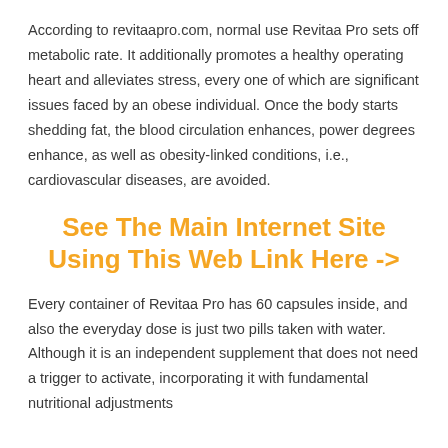According to revitaapro.com, normal use Revitaa Pro sets off metabolic rate. It additionally promotes a healthy operating heart and alleviates stress, every one of which are significant issues faced by an obese individual. Once the body starts shedding fat, the blood circulation enhances, power degrees enhance, as well as obesity-linked conditions, i.e., cardiovascular diseases, are avoided.
See The Main Internet Site Using This Web Link Here ->
Every container of Revitaa Pro has 60 capsules inside, and also the everyday dose is just two pills taken with water. Although it is an independent supplement that does not need a trigger to activate, incorporating it with fundamental nutritional adjustments and also...